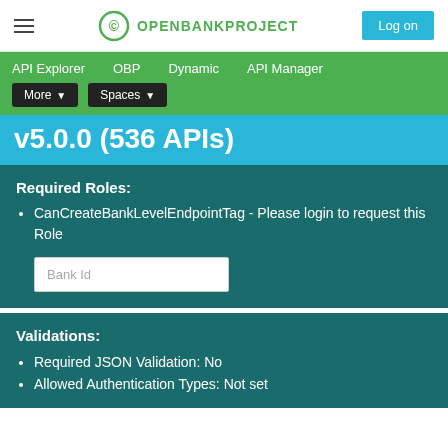OPENBANKPROJECT — Log on
API Explorer   OBP   Dynamic   API Manager   More ▾   Spaces ▾
v5.0.0 (536 APIs)
Required Roles:
CanCreateBankLevelEndpointTag - Please login to request this Role
Bank Id
Validations:
Required JSON Validation: No
Allowed Authentication Types: Not set